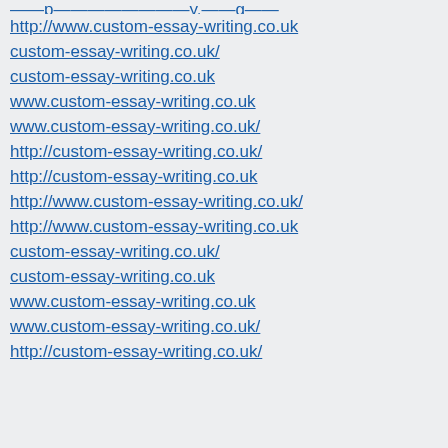http://www.custom-essay-writing.co.uk
custom-essay-writing.co.uk/
custom-essay-writing.co.uk
www.custom-essay-writing.co.uk
www.custom-essay-writing.co.uk/
http://custom-essay-writing.co.uk/
http://custom-essay-writing.co.uk
http://www.custom-essay-writing.co.uk/
http://www.custom-essay-writing.co.uk
custom-essay-writing.co.uk/
custom-essay-writing.co.uk
www.custom-essay-writing.co.uk
www.custom-essay-writing.co.uk/
http://custom-essay-writing.co.uk/